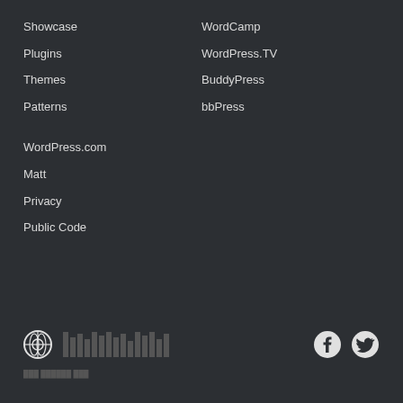Showcase
Plugins
Themes
Patterns
WordCamp
WordPress.TV
BuddyPress
bbPress
WordPress.com
Matt
Privacy
Public Code
WordPress logo, bar graphic, Facebook icon, Twitter icon, footer links